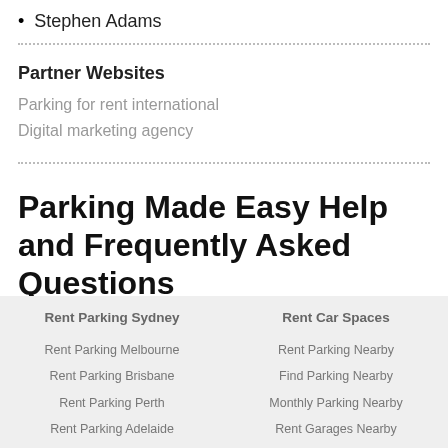Stephen Adams
Partner Websites
Parking for rent international
Digital marketing agency
Parking Made Easy Help and Frequently Asked Questions
Rent Parking Sydney | Rent Car Spaces
Rent Parking Melbourne | Rent Parking Nearby
Rent Parking Brisbane | Find Parking Nearby
Rent Parking Perth | Monthly Parking Nearby
Rent Parking Adelaide | Rent Garages Nearby